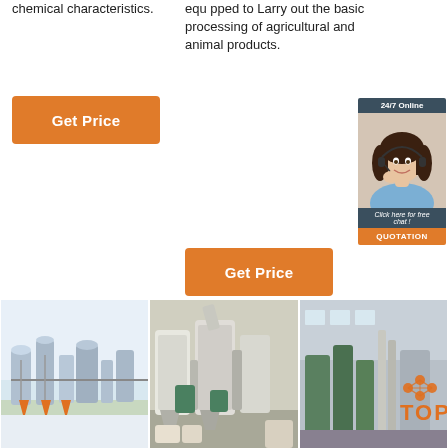chemical characteristics.
equ pped to Larry out the basic processing of agricultural and animal products.
Get Price
Get Price
[Figure (infographic): 24/7 Online customer support widget with a woman wearing a headset, 'Click here for free chat!' text, and a QUOTATION button]
[Figure (photo): Industrial chemical processing equipment]
[Figure (photo): Agricultural processing machinery]
[Figure (photo): Industrial milling facility with TOP label overlay]